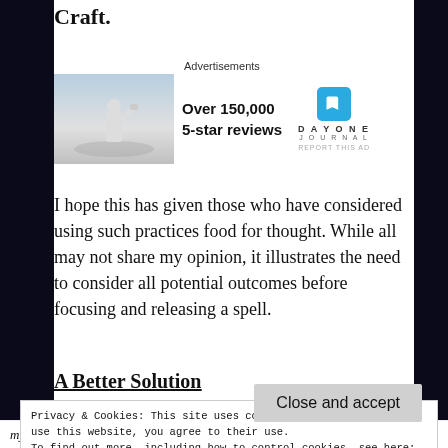Craft.
[Figure (other): Advertisement banner: DAY ONE JOURNAL app with image of person photographing sunset and text 'Over 150,000 5-star reviews']
I hope this has given those who have considered using such practices food for thought. While all may not share my opinion, it illustrates the need to consider all potential outcomes before focusing and releasing a spell.
A Better Solution
Privacy & Cookies: This site uses cookies. By continuing to use this website, you agree to their use.
To find out more, including how to control cookies, see here: Cookie Policy
my life alone. I had decided to ask the Goddess for help, using my